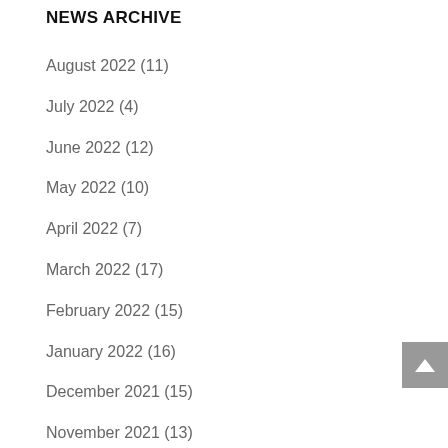NEWS ARCHIVE
August 2022 (11)
July 2022 (4)
June 2022 (12)
May 2022 (10)
April 2022 (7)
March 2022 (17)
February 2022 (15)
January 2022 (16)
December 2021 (15)
November 2021 (13)